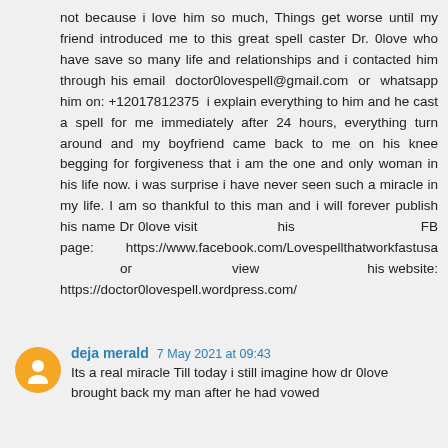not because i love him so much, Things get worse until my friend introduced me to this great spell caster Dr. 0love who have save so many life and relationships and i contacted him through his email doctor0lovespell@gmail.com or whatsapp him on: +12017812375 i explain everything to him and he cast a spell for me immediately after 24 hours, everything turn around and my boyfriend came back to me on his knee begging for forgiveness that i am the one and only woman in his life now. i was surprise i have never seen such a miracle in my life. I am so thankful to this man and i will forever publish his name Dr 0love visit his FB page: https://www.facebook.com/Lovespellthatworkfastusa or view his website: https://doctor0lovespell.wordpress.com/
deja merald  7 May 2021 at 09:43
Its a real miracle Till today i still imagine how dr 0love brought back my man after he had vowed